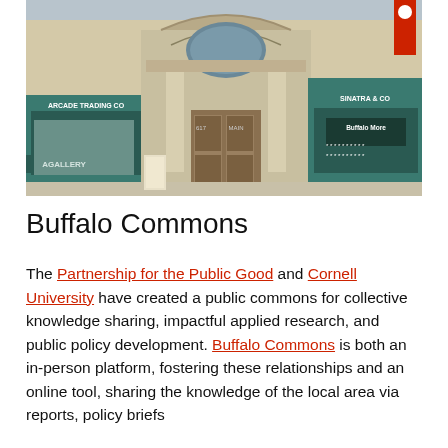[Figure (photo): Exterior photograph of 617 Main Street building in Buffalo, featuring ornate stone archway entrance, teal/green storefront windows, signs reading 'Arcade Trading Co', 'Sinatra & Co', 'Gallery', and 'Buffalo More', with a red Cornell University banner on the right side.]
Buffalo Commons
The Partnership for the Public Good and Cornell University have created a public commons for collective knowledge sharing, impactful applied research, and public policy development. Buffalo Commons is both an in-person platform, fostering these relationships and an online tool, sharing the knowledge of the local area via reports, policy briefs